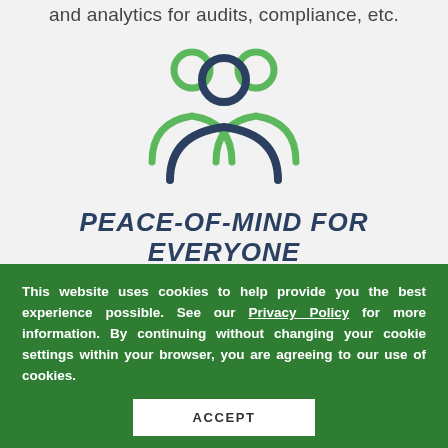and analytics for audits, compliance, etc.
[Figure (illustration): Icon of two people / group of users silhouette, dark navy and green colors]
PEACE-OF-MIND FOR EVERYONE
When combined with our SafeAccess 360 offerings you can manage risk, build trust,
This website uses cookies to help provide you the best experience possible. See our Privacy Policy for more information. By continuing without changing your cookie settings within your browser, you are agreeing to our use of cookies.
ACCEPT